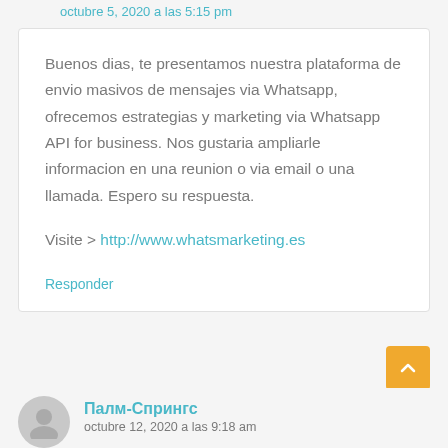octubre 5, 2020 a las 5:15 pm
Buenos dias, te presentamos nuestra plataforma de envio masivos de mensajes via Whatsapp, ofrecemos estrategias y marketing via Whatsapp API for business. Nos gustaria ampliarle informacion en una reunion o via email o una llamada. Espero su respuesta.

Visite > http://www.whatsmarketing.es
Responder
Палм-Спрингс
octubre 12, 2020 a las 9:18 am